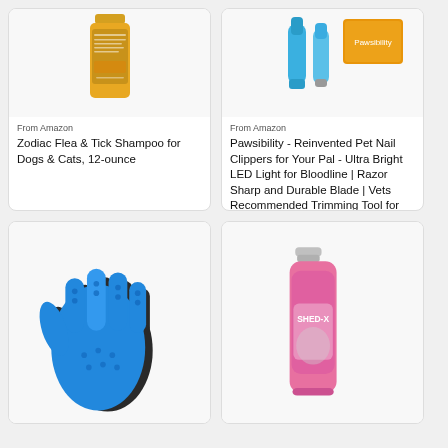[Figure (photo): Zodiac Flea & Tick Shampoo bottle (orange/yellow) product photo on white background]
From Amazon
Zodiac Flea & Tick Shampoo for Dogs & Cats, 12-ounce
[Figure (photo): Pawsibility pet nail clippers (blue) and orange box product photo on white background]
From Amazon
Pawsibility - Reinvented Pet Nail Clippers for Your Pal - Ultra Bright LED Light for Bloodline | Razor Sharp and Durable Blade | Vets Recommended Trimming Tool for Dogs and Cats
[Figure (photo): Blue and black pet grooming gloves product photo on white background]
[Figure (photo): Shed-X cat shampoo pink bottle product photo on white background]